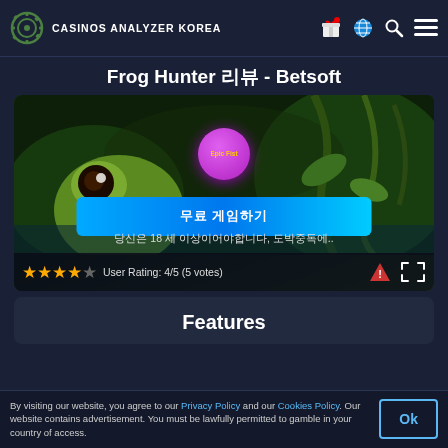CASINOS ANALYZER KOREA
Frog Hunter 리뷰 - Betsoft
[Figure (screenshot): Frog Hunter slot game preview with purple play button circle, blue '무료 게임하기' (Play Free) button, subtitle text '당신은 18 세 이상이어야합니다, 도박중독에..', star rating 4/5 (5 votes), warning icon and expand icon at bottom]
Features
By visiting our website, you agree to our Privacy Policy and our Cookies Policy. Our website contains advertisement. You must be lawfully permitted to gamble in your country of access.